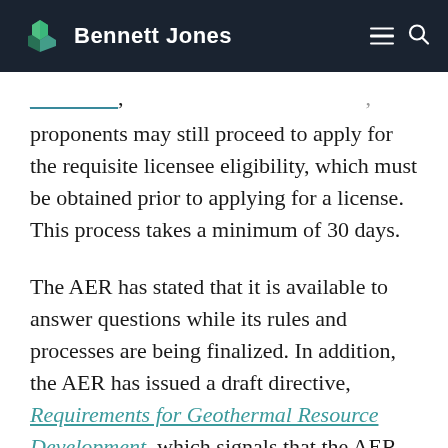Bennett Jones
proponents may still proceed to apply for the requisite licensee eligibility, which must be obtained prior to applying for a license. This process takes a minimum of 30 days.
The AER has stated that it is available to answer questions while its rules and processes are being finalized. In addition, the AER has issued a draft directive, Requirements for Geothermal Resource Development, which signals that the AER intends to regulate geothermal developments in a manner similar to traditional oil and gas operations with respect to